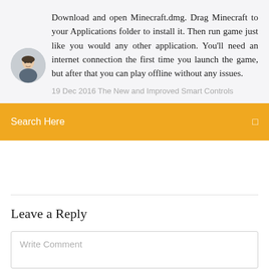Download and open Minecraft.dmg. Drag Minecraft to your Applications folder to install it. Then run game just like you would any other application. You'll need an internet connection the first time you launch the game, but after that you can play offline without any issues.
19 Dec 2016 The New and Improved Smart Controls
Search Here
Leave a Reply
Write Comment